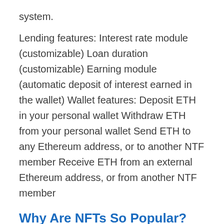system.
Lending features: Interest rate module (customizable) Loan duration (customizable) Earning module (automatic deposit of interest earned in the wallet) Wallet features: Deposit ETH in your personal wallet Withdraw ETH from your personal wallet Send ETH to any Ethereum address, or to another NTF member Receive ETH from an external Ethereum address, or from another NTF member
Why Are NFTs So Popular?